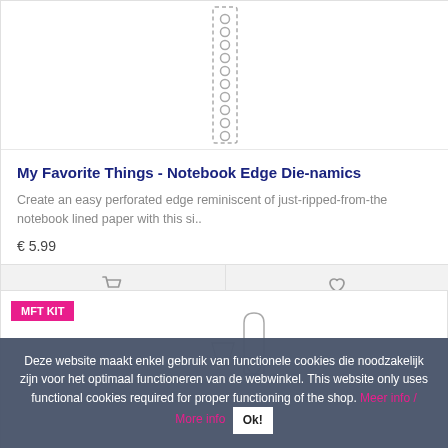[Figure (illustration): A vertical strip with dotted border and circular perforations, resembling a notebook edge die cut template.]
My Favorite Things - Notebook Edge Die-namics
Create an easy perforated edge reminiscent of just-ripped-from-the notebook lined paper with this si..
€ 5.99
[Figure (illustration): Shopping cart icon button]
[Figure (illustration): Heart/wishlist icon button]
MFT KIT
[Figure (illustration): Second product card showing die-cut shapes including a shield, trapezoid, and rectangle on white background.]
Deze website maakt enkel gebruik van functionele cookies die noodzakelijk zijn voor het optimaal functioneren van de webwinkel. This website only uses functional cookies required for proper functioning of the shop. Meer info / More info Ok!